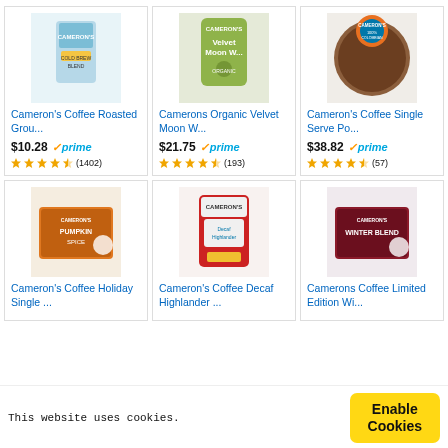[Figure (screenshot): Product grid of Cameron's Coffee items on Amazon-like e-commerce page with 6 product cards, prices, prime badges, star ratings, and a cookie consent bar at the bottom.]
Cameron's Coffee Roasted Grou...
$10.28 prime (1402)
Camerons Organic Velvet Moon W...
$21.75 prime (193)
Cameron's Coffee Single Serve Po...
$38.82 prime (57)
Cameron's Coffee Holiday Single ...
Cameron's Coffee Decaf Highlander ...
Camerons Coffee Limited Edition Wi...
This website uses cookies.
Enable Cookies